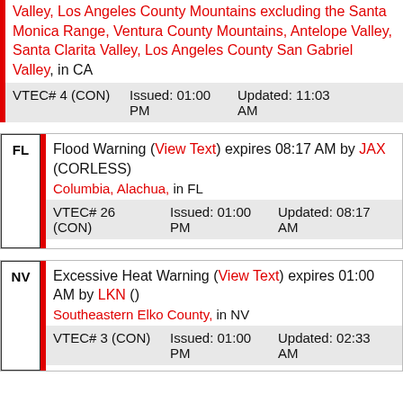Valley, Los Angeles County Mountains excluding the Santa Monica Range, Ventura County Mountains, Antelope Valley, Santa Clarita Valley, Los Angeles County San Gabriel Valley, in CA
VTEC# 4 (CON) Issued: 01:00 PM   Updated: 11:03 AM
Flood Warning (View Text) expires 08:17 AM by JAX (CORLESS)
Columbia, Alachua, in FL
VTEC# 26 (CON) Issued: 01:00 PM   Updated: 08:17 AM
Excessive Heat Warning (View Text) expires 01:00 AM by LKN ()
Southeastern Elko County, in NV
VTEC# 3 (CON) Issued: 01:00 PM   Updated: 02:33 AM